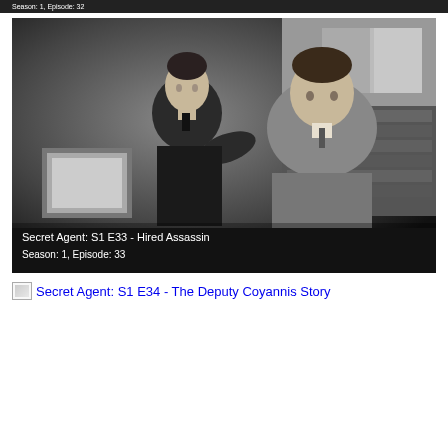Season: 1, Episode: 32
[Figure (photo): Black and white still from TV show Secret Agent showing two men in a room with bookshelves, one leaning toward the other. Caption overlay reads: Secret Agent: S1 E33 - Hired Assassin / Season: 1, Episode: 33]
Secret Agent: S1 E34 - The Deputy Coyannis Story